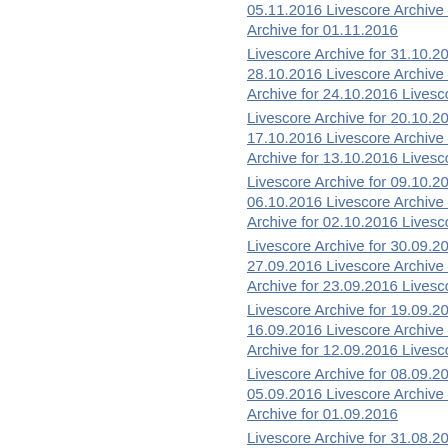05.11.2016   Livescore Archive for 04.11.2016   Livescore Archive for 01.11.2016
Livescore Archive for 31.10.2016   Livescore Archive for 28.10.2016   Livescore Archive for 27.10.2016
Archive for 24.10.2016   Livescore Archive fo
Livescore Archive for 20.10.2016   Livescore 17.10.2016   Livescore Archive for 16.10.2016
Archive for 13.10.2016   Livescore Archive fo
Livescore Archive for 09.10.2016   Livescore 06.10.2016   Livescore Archive for 05.10.2016
Archive for 02.10.2016   Livescore Archive for
Livescore Archive for 30.09.2016   Livescore 27.09.2016   Livescore Archive for 26.09.2016
Archive for 23.09.2016   Livescore Archive fo
Livescore Archive for 19.09.2016   Livescore 16.09.2016   Livescore Archive for 15.09.2016
Archive for 12.09.2016   Livescore Archive fo
Livescore Archive for 08.09.2016   Livescore 05.09.2016   Livescore Archive for 04.09.2016
Archive for 01.09.2016
Livescore Archive for 31.08.2016   Livescore 28.08.2016   Livescore Archive for 27.08.2016
Archive for 24.08.2016   Livescore Archive fo
Livescore Archive for 20.08.2016   Livescore 17.08.2016   Livescore Archive for 16.08.2016